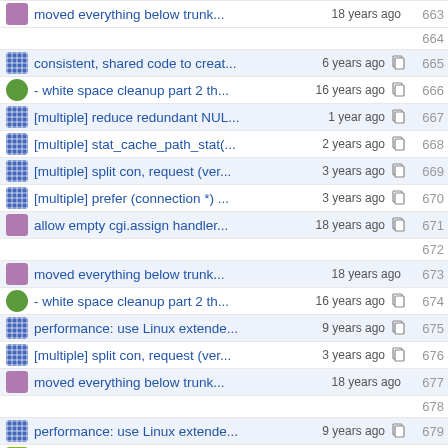moved everything below trunk... 18 years ago 663
664 (empty)
consistent, shared code to creat... 6 years ago 665
- white space cleanup part 2 th... 16 years ago 666
[multiple] reduce redundant NUL... 1 year ago 667
[multiple] stat_cache_path_stat(... 2 years ago 668
[multiple] split con, request (ver... 3 years ago 669
[multiple] prefer (connection *) ... 3 years ago 670
allow empty cgi.assign handler... 18 years ago 671
672 (empty)
moved everything below trunk... 18 years ago 673
- white space cleanup part 2 th... 16 years ago 674
performance: use Linux extende... 9 years ago 675
[multiple] split con, request (ver... 3 years ago 676
moved everything below trunk... 18 years ago 677
678 (empty)
performance: use Linux extende... 9 years ago 679
Fix fd leaks in mod_cgi (fds not... 13 years ago 680
681 (empty)
[multiple] split con, request (ver... 3 years ago 682